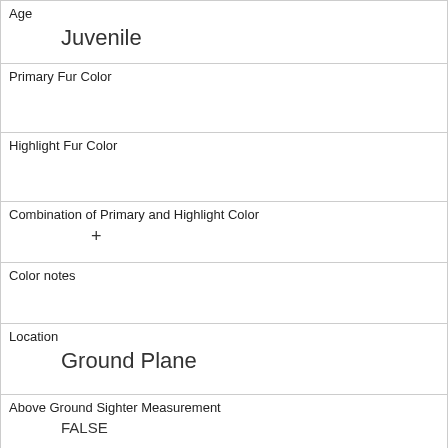| Age | Juvenile |
| Primary Fur Color |  |
| Highlight Fur Color |  |
| Combination of Primary and Highlight Color | + |
| Color notes |  |
| Location | Ground Plane |
| Above Ground Sighter Measurement | FALSE |
| Specific Location |  |
| Running | 0 |
| Chasing | 0 |
| Climbing |  |